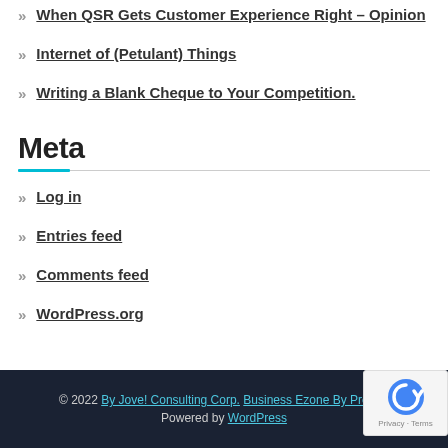When QSR Gets Customer Experience Right – Opinion
Internet of (Petulant) Things
Writing a Blank Cheque to Your Competition.
Meta
Log in
Entries feed
Comments feed
WordPress.org
© 2022 By Jove! Consulting Corp. Business Ezone By Prosys T. Powered by WordPress